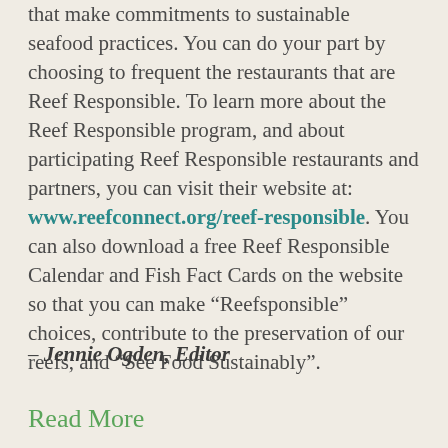that make commitments to sustainable seafood practices. You can do your part by choosing to frequent the restaurants that are Reef Responsible. To learn more about the Reef Responsible program, and about participating Reef Responsible restaurants and partners, you can visit their website at: www.reefconnect.org/reef-responsible. You can also download a free Reef Responsible Calendar and Fish Fact Cards on the website so that you can make “Reefsponsible” choices, contribute to the preservation of our reefs, and “See Food Sustainably”.
– Jennie Ogden, Editor
Read More